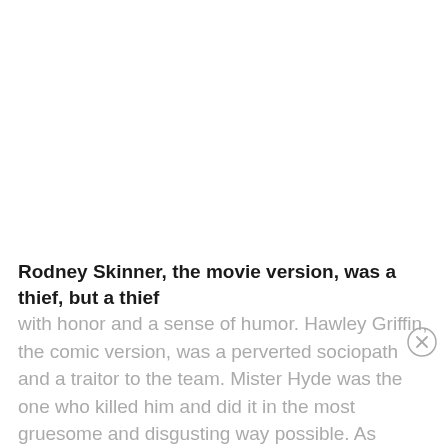Rodney Skinner, the movie version, was a thief, but a thief with honor and a sense of humor. Hawley Griffin, the comic version, was a perverted sociopath and a traitor to the team. Mister Hyde was the one who killed him and did it in the most gruesome and disgusting way possible. As